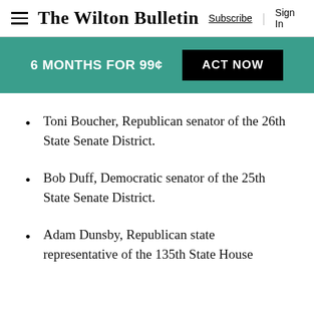The Wilton Bulletin — Subscribe | Sign In
6 MONTHS FOR 99¢  ACT NOW
Toni Boucher, Republican senator of the 26th State Senate District.
Bob Duff, Democratic senator of the 25th State Senate District.
Adam Dunsby, Republican state representative of the 135th State House